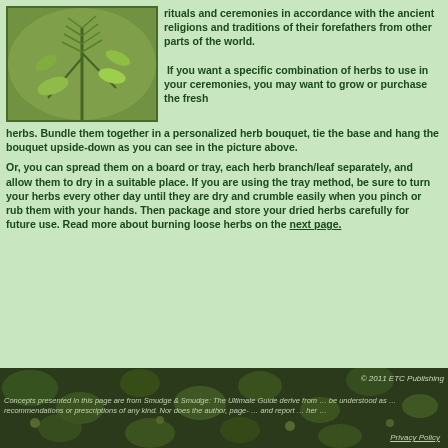[Figure (photo): Close-up photo of fresh green herb sprigs (rosemary and sage) bundled together against a green background]
rituals and ceremonies in accordance with the ancient religions and traditions of their forefathers from other parts of the world.

If you want a specific combination of herbs to use in your ceremonies, you may want to grow or purchase the fresh herbs. Bundle them together in a personalized herb bouquet, tie the base and hang the bouquet upside-down as you can see in the picture above.

Or, you can spread them on a board or tray, each herb branch/leaf separately, and allow them to dry in a suitable place. If you are using the tray method, be sure to turn your herbs every other day until they are dry and crumble easily when you pinch or rub them with your hands. Then package and store your dried herbs carefully for future use. Read more about burning loose herbs on the next page.
© 2011 ETC Publishing
Concepts presented in this page are from Smudge & Smudge: The Ultimate Guide derive from … be understood as … recommendations or prescriptions of any kind. Nor does the author, page-… and report … her …
Privacy Policy